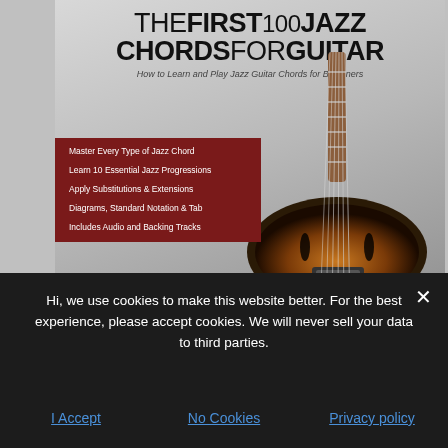[Figure (illustration): Book cover of 'The First 100 Jazz Chords for Guitar' by Joseph Alexander, showing a semi-hollow electric guitar on a grey background, with a dark red panel listing book features and author info at the bottom.]
Hi, we use cookies to make this website better. For the best experience, please accept cookies. We will never sell your data to third parties.
I Accept
No Cookies
Privacy policy